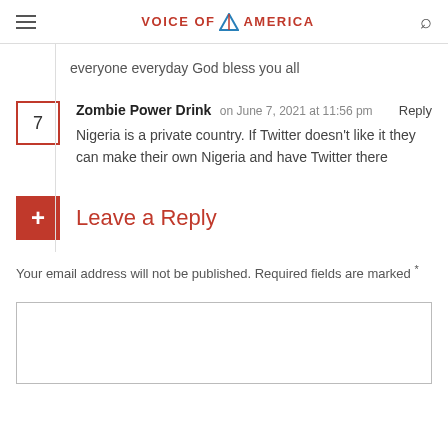Voice of America
everyone everyday God bless you all
7 — Zombie Power Drink on June 7, 2021 at 11:56 pm — Reply — Nigeria is a private country. If Twitter doesn't like it they can make their own Nigeria and have Twitter there
Leave a Reply
Your email address will not be published. Required fields are marked *